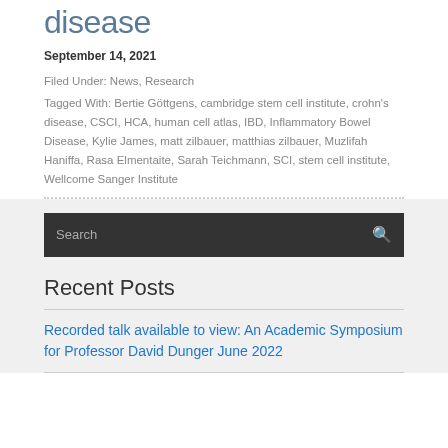disease
September 14, 2021
Filed Under: News, Research
Tagged With: Bertie Göttgens, cambridge stem cell institute, crohn's disease, CSCI, HCA, human cell atlas, IBD, Inflammatory Bowel Disease, Kylie James, matt zilbauer, matthias zilbauer, Muzlifah Haniffa, Rasa Elmentaite, Sarah Teichmann, SCI, stem cell institute, Wellcome Sanger Institute
Recent Posts
Recorded talk available to view: An Academic Symposium for Professor David Dunger June 2022